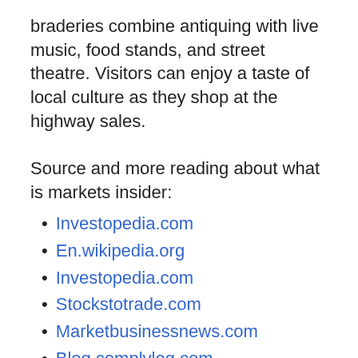braderies combine antiquing with live music, food stands, and street theatre. Visitors can enjoy a taste of local culture as they shop at the highway sales.
Source and more reading about what is markets insider:
Investopedia.com
En.wikipedia.org
Investopedia.com
Stockstotrade.com
Marketbusinessnews.com
Blog.complylog.com
Businessinsider.com
Related Post
What Is Markets Doing Today?
What Is Markets Coordinate Trade?
What Is Markets in Economics?